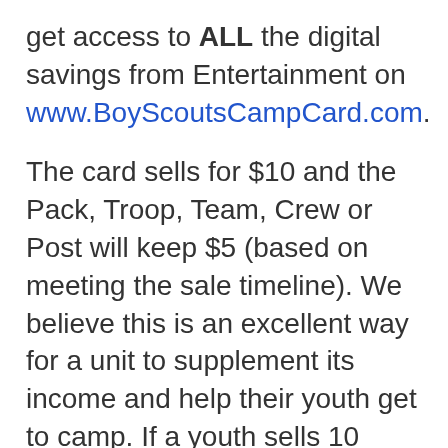get access to ALL the digital savings from Entertainment on www.BoyScoutsCampCard.com.
The card sells for $10 and the Pack, Troop, Team, Crew or Post will keep $5 (based on meeting the sale timeline). We believe this is an excellent way for a unit to supplement its income and help their youth get to camp. If a youth sells 10 cards they have earned $50 for their unit… you can do the math to see how quickly this adds up!
The timeline for the sale is as follows:
February 1st – Commit your unit to the sale!